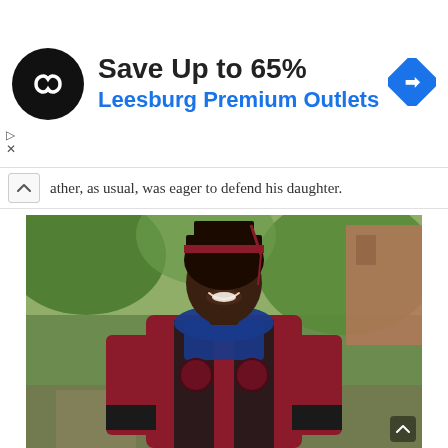[Figure (infographic): Advertisement banner for Leesburg Premium Outlets showing a circular black logo with infinity-like symbol, text 'Save Up to 65%' in bold dark text and 'Leesburg Premium Outlets' in blue, and a blue diamond-shaped navigation arrow icon on the right.]
ather, as usual, was eager to defend his daughter.
[Figure (photo): A smiling Black woman wearing doctoral graduation regalia including a dark mortarboard cap with maroon band, a maroon and black doctoral gown with blue velvet hood and two embroidered medallions on the front, standing outdoors with green trees and a brick building visible in the background.]